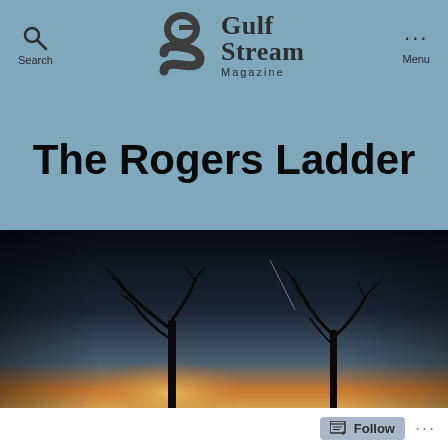Gulf Stream Magazine
The Rogers Ladder
[Figure (photo): Dark silhouette of bare tree branches against a twilight sky with gradient from dark blue-black at top to warm orange-yellow at the horizon]
Follow